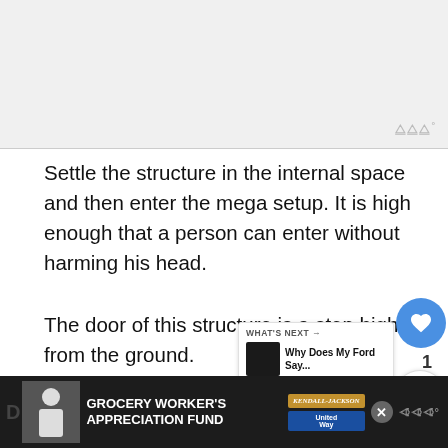[Figure (other): Top image area with light gray background, website screenshot partial view]
Settle the structure in the internal space and then enter the mega setup. It is high enough that a person can enter without harming his head.
The door of this structure is a step high from the ground.
There is no need to use the ladder, and you can step up on the small iron step. Holding the handles allows strength to get a safe en...
[Figure (infographic): Bottom advertisement bar: Grocery Worker's Appreciation Fund with Kendall Jackson and United Way logos]